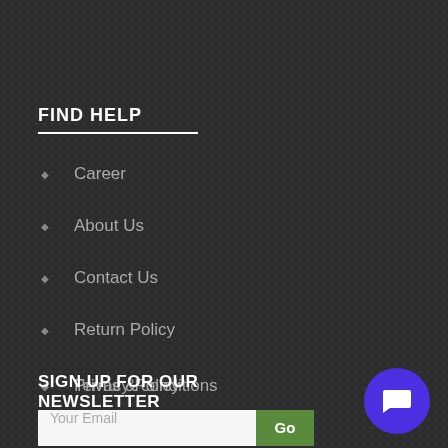FIND HELP
Career
About Us
Contact Us
Return Policy
Terms & conditions
Privacy Policy
SIGN UP FOR OUR NEWSLETTER
Your Email
Go